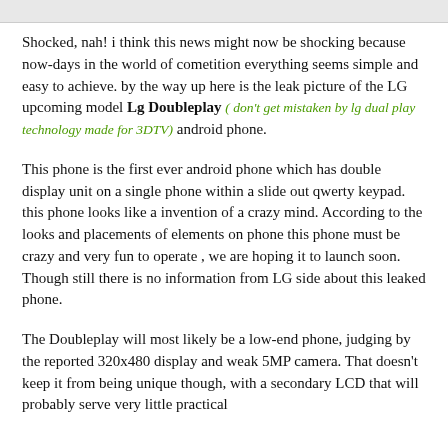[Figure (photo): Partial view of a phone image strip at top of page]
Shocked, nah! i think this news might now be shocking because now-days in the world of cometition everything seems simple and easy to achieve. by the way up here is the leak picture of the LG upcoming model Lg Doubleplay ( don't get mistaken by lg dual play technology made for 3DTV) android phone.
This phone is the first ever android phone which has double display unit on a single phone within a slide out qwerty keypad. this phone looks like a invention of a crazy mind. According to the looks and placements of elements on phone this phone must be crazy and very fun to operate , we are hoping it to launch soon. Though still there is no information from LG side about this leaked phone.
The Doubleplay will most likely be a low-end phone, judging by the reported 320x480 display and weak 5MP camera. That doesn't keep it from being unique though, with a secondary LCD that will probably serve very little practical